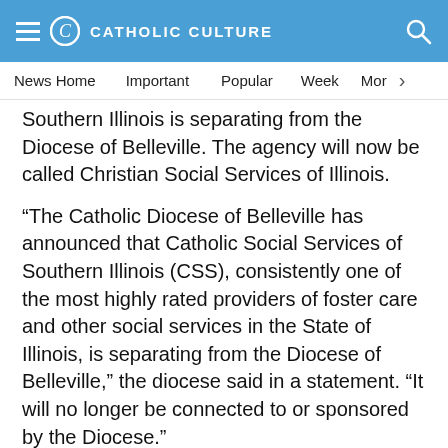CATHOLIC CULTURE
News Home  Important  Popular  Week  Mor
Southern Illinois is separating from the Diocese of Belleville. The agency will now be called Christian Social Services of Illinois.
“The Catholic Diocese of Belleville has announced that Catholic Social Services of Southern Illinois (CSS), consistently one of the most highly rated providers of foster care and other social services in the State of Illinois, is separating from the Diocese of Belleville,” the diocese said in a statement. “It will no longer be connected to or sponsored by the Diocese.”
“Unable to remain faithful to the moral teaching of the Catholic Church while adhering to the Illinois Religious Freedom Protection and Civil Union Act, the 64-year-old social service agency chose to disassociate from the Diocese. It is hoped that this new entity will